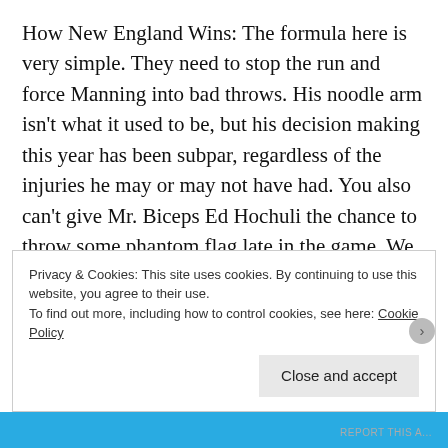How New England Wins: The formula here is very simple. They need to stop the run and force Manning into bad throws. His noodle arm isn't what it used to be, but his decision making this year has been subpar, regardless of the injuries he may or may not have had. You also can't give Mr. Biceps Ed Hochuli the chance to throw some phantom flag late in the game. We had some brutal PI and holding calls late in the game which killed drives and extended them for Denver in week ten. You're a fool if you don't think the NFL and Evil Goodell wants to see Denver and Manning back in the Super Bowl. So the Patriots have to play disciplined football and move the chains on third down. Their third down conversion percentage in the first meeting resembled the drunk guy at the bar hitting on every
Privacy & Cookies: This site uses cookies. By continuing to use this website, you agree to their use.
To find out more, including how to control cookies, see here: Cookie Policy
[Close and accept]